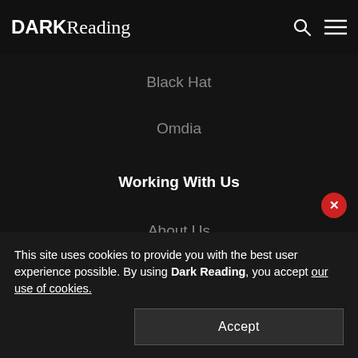DARK Reading
Black Hat
Omdia
Working With Us
About Us
Advertise
Reprints
This site uses cookies to provide you with the best user experience possible. By using Dark Reading, you accept our use of cookies.